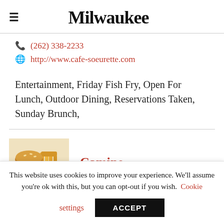Milwaukee
(262) 338-2233
http://www.cafe-soeurette.com
Entertainment, Friday Fish Fry, Open For Lunch, Outdoor Dining, Reservations Taken, Sunday Brunch,
[Figure (photo): Photo of a burger with french fries on a plate]
Camino
This website uses cookies to improve your experience. We'll assume you're ok with this, but you can opt-out if you wish. Cookie settings ACCEPT